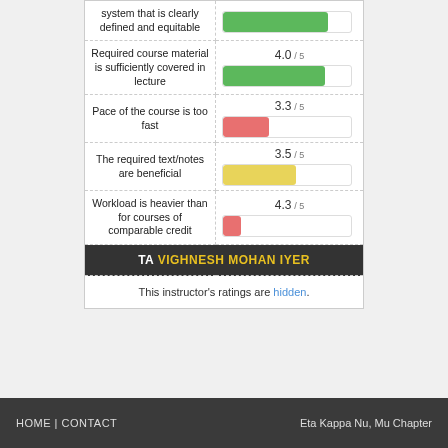| Question | Score / Bar |
| --- | --- |
| system that is clearly defined and equitable | 4.0 / 5 |
| Required course material is sufficiently covered in lecture | 4.0 / 5 |
| Pace of the course is too fast | 3.3 / 5 |
| The required text/notes are beneficial | 3.5 / 5 |
| Workload is heavier than for courses of comparable credit | 4.3 / 5 |
TA VIGHNESH MOHAN IYER
This instructor's ratings are hidden.